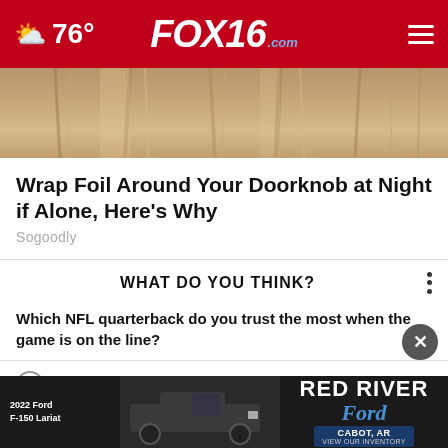FOX16.com — 76°
[Figure (photo): Close-up photo of wooden door panels with vertical grain lines in warm brown tones]
Wrap Foil Around Your Doorknob at Night if Alone, Here's Why
Sogoodly
WHAT DO YOU THINK?
Which NFL quarterback do you trust the most when the game is on the line?
Tom Brady
Aaron Rodgers
P[artially visible]
[Figure (photo): Red River Ford advertisement showing a 2022 Ford F-150 Lariat truck with text: 2022 Ford F-150 Lariat, RED RIVER Ford CABOT, AR, VIEW OUR INVENTORY]